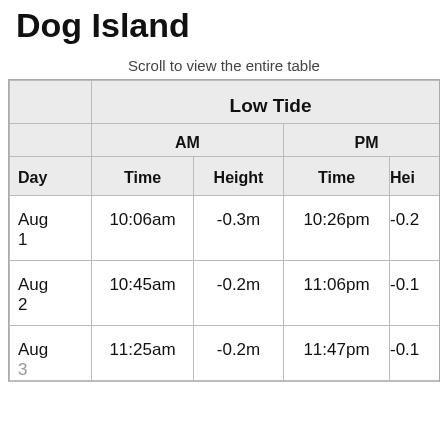Dog Island
Scroll to view the entire table
| Day | AM Time | AM Height | PM Time | PM Height |
| --- | --- | --- | --- | --- |
| Aug 1 | 10:06am | -0.3m | 10:26pm | -0.2 |
| Aug 2 | 10:45am | -0.2m | 11:06pm | -0.1 |
| Aug 3 | 11:25am | -0.2m | 11:47pm | -0.1 |